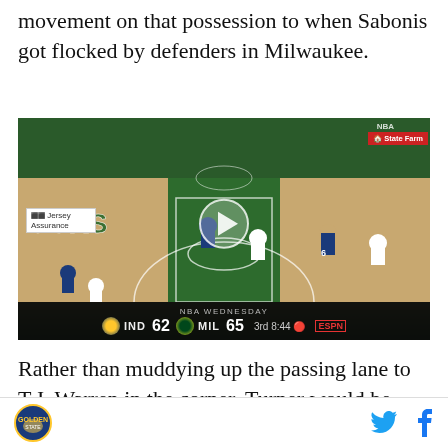movement on that possession to when Sabonis got flocked by defenders in Milwaukee.
[Figure (screenshot): NBA game video screenshot showing Indiana Pacers vs Milwaukee Bucks game at Milwaukee arena. Scoreboard shows IND 62, MIL 65, 3rd quarter 8:44. Play button overlay visible. Jersey Assurance and State Farm ads visible on court.]
Rather than muddying up the passing lane to T.J. Warren in the corner, Turner would be stationed at the free throw line providing a maypole for T.J. McConnell's defender as well as a potential kick-out
Twitter Facebook